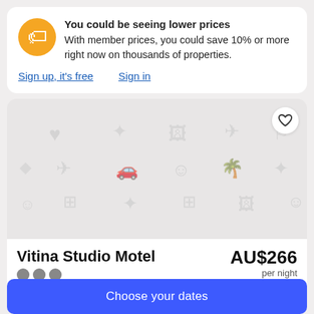You could be seeing lower prices. With member prices, you could save 10% or more right now on thousands of properties.
Sign up, it's free   Sign in
[Figure (photo): Hotel image placeholder with grey background and scattered travel/activity icons]
Vitina Studio Motel
38 Gardens Rd, Darwin, NT, 0800
AU$266 per night 17 Sep. - 18 Sep.
Choose your dates